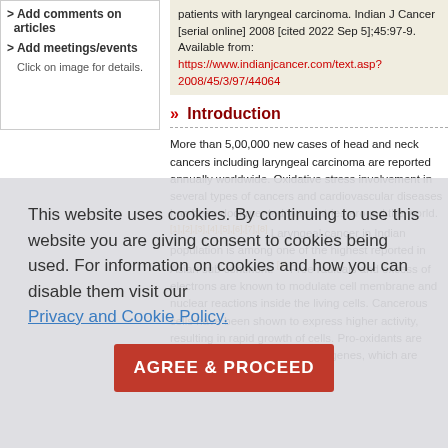> Add comments on articles
> Add meetings/events
Click on image for details.
patients with laryngeal carcinoma. Indian J Cancer [serial online] 2008 [cited 2022 Sep 5];45:97-9. Available from: https://www.indianjcancer.com/text.asp?2008/45/3/97/44064
» Introduction
More than 5,00,000 new cases of head and neck cancers including laryngeal carcinoma are reported annually worldwide. Oxidative stress involvement in several types of cancers and cardiovascular diseases has been documented in countries around the world.[1],[2],[3],[4],[5],[6],[7],[8] Laryngeal cancer in Indian population is among one of the highest reported in Asian sub continent.[9] Free radicals and excess of electrons are known to modulate cell membrane and nuclear reactions inside the living cells. Cancerous cells have been shown to express higher activity, resulting in rapid growth of cells. Pro-oxidants are known to modulate pro-oxidant genes, which are related to cell growth and
This website uses cookies. By continuing to use this website you are giving consent to cookies being used. For information on cookies and how you can disable them visit our
Privacy and Cookie Policy.
AGREE & PROCEED